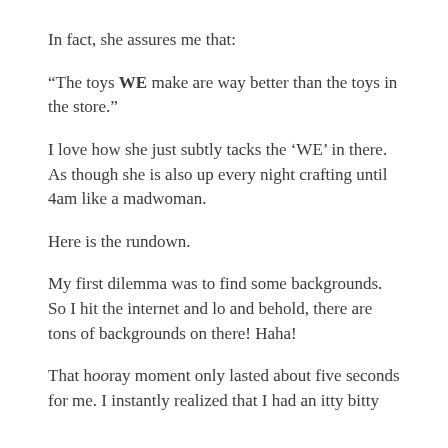In fact, she assures me that:
“The toys WE make are way better than the toys in the store.”
I love how she just subtly tacks the ‘WE’ in there. As though she is also up every night crafting until 4am like a madwoman.
Here is the rundown.
My first dilemma was to find some backgrounds. So I hit the internet and lo and behold, there are tons of backgrounds on there! Haha!
That hooray moment only lasted about five seconds for me. I instantly realized that I had an itty bitty